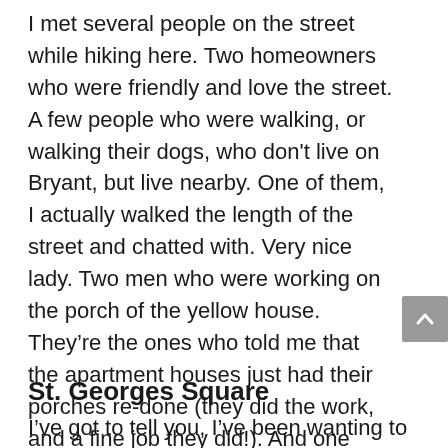I met several people on the street while hiking here. Two homeowners who were friendly and love the street. A few people who were walking, or walking their dogs, who don't live on Bryant, but live nearby. One of them, I actually walked the length of the street and chatted with. Very nice lady. Two men who were working on the porch of the yellow house. They're the ones who told me that the apartment houses just had their porches re-done (they did the work, and a fine job they did!). And one very friendly landscaper who told me what he knew about the old Goodyear land and St. Georges Square.
St. Georges Square
I've got to tell you, I've been wanting to see this